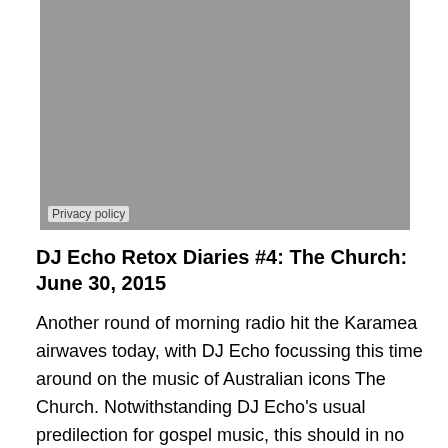[Figure (photo): A gray rectangular image placeholder with a 'Privacy policy' label at the bottom left corner]
DJ Echo Retox Diaries #4: The Church: June 30, 2015
Another round of morning radio hit the Karamea airwaves today, with DJ Echo focussing this time around on the music of Australian icons The Church. Notwithstanding DJ Echo's usual predilection for gospel music, this should in no way be confused with 'church music' but instead embraces the kind of woozy, slightly mystical psychedelia which is so popular around these parts (it makes the cows lay more eggs, or something like that). Sampling tracks mainly from the middle period of the Church's 35 year career, this show may be low on the Hallelujahs but high on several other levels.